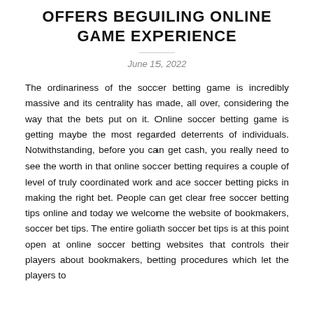OFFERS BEGUILING ONLINE GAME EXPERIENCE
June 15, 2022
The ordinariness of the soccer betting game is incredibly massive and its centrality has made, all over, considering the way that the bets put on it. Online soccer betting game is getting maybe the most regarded deterrents of individuals. Notwithstanding, before you can get cash, you really need to see the worth in that online soccer betting requires a couple of level of truly coordinated work and ace soccer betting picks in making the right bet. People can get clear free soccer betting tips online and today we welcome the website of bookmakers, soccer bet tips. The entire goliath soccer bet tips is at this point open at online soccer betting websites that controls their players about bookmakers, betting procedures which let the players to